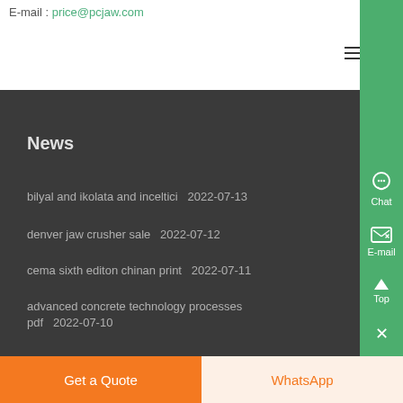E-mail : price@pcjaw.com
News
bilyal and ikolata and inceltici  2022-07-13
denver jaw crusher sale  2022-07-12
cema sixth editon chinan print  2022-07-11
advanced concrete technology processes pdf  2022-07-10
Get a Quote
WhatsApp